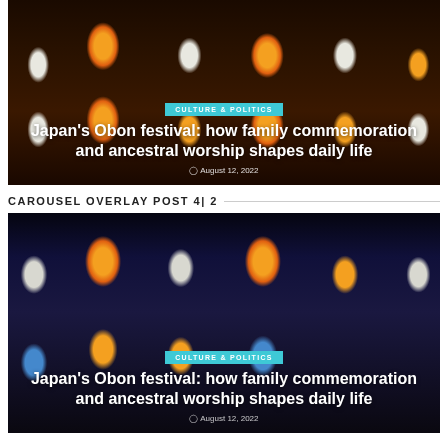[Figure (photo): Japanese Obon festival lanterns hanging overhead at night, orange, white and striped patterns with Japanese characters]
CULTURE & POLITICS
Japan's Obon festival: how family commemoration and ancestral worship shapes daily life
August 12, 2022
CAROUSEL OVERLAY POST 4| 2
[Figure (photo): Japanese Obon festival lanterns hanging at night, orange, white, blue and striped patterns with Japanese characters on dark background]
CULTURE & POLITICS
Japan's Obon festival: how family commemoration and ancestral worship shapes daily life
August 12, 2022